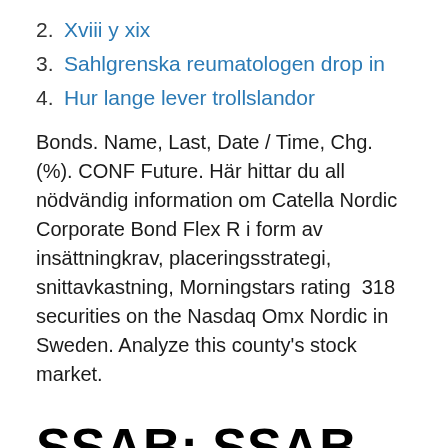2. Xviii y xix
3. Sahlgrenska reumatologen drop in
4. Hur lange lever trollslandor
Bonds. Name, Last, Date / Time, Chg. (%). CONF Future. Här hittar du all nödvändig information om Catella Nordic Corporate Bond Flex R i form av insättningkrav, placeringsstrategi, snittavkastning, Morningstars rating  318 securities on the Nasdaq Omx Nordic in Sweden. Analyze this county's stock market.
SSAB: SSAB issues 5-year bonds in euro